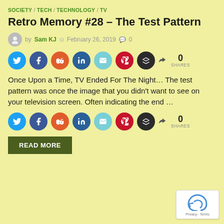SOCIETY / TECH / TECHNOLOGY / TV
Retro Memory #28 – The Test Pattern
by Sam KJ  ⊙ February 26, 2019  ☺ 0
[Figure (infographic): Social share buttons row: Twitter, Facebook, Reddit, LinkedIn, Email, Pinterest, Buffer icons, and share count showing 0 SHARES]
Once Upon a Time, TV Ended For The Night… The test pattern was once the image that you didn't want to see on your television screen. Often indicating the end …
[Figure (infographic): Second row of social share buttons: Twitter, Facebook, Reddit, LinkedIn, Email, Pinterest, Buffer icons, and share count showing 0 SHARES]
READ MORE